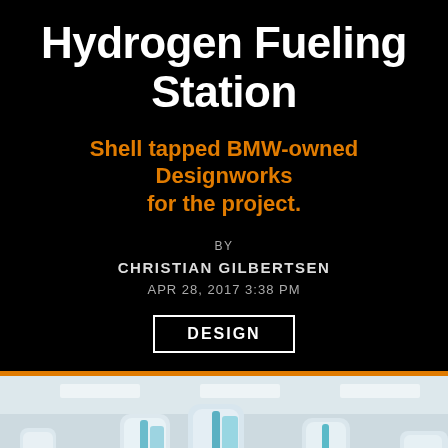Hydrogen Fueling Station
Shell tapped BMW-owned Designworks for the project.
BY
CHRISTIAN GILBERTSEN
APR 28, 2017 3:38 PM
DESIGN
[Figure (photo): Rendering of a hydrogen fueling station interior showing fueling pumps/dispensers with teal and white design, numbered dispensers visible (number 2), modern clean facility interior with pale walls and ceiling.]